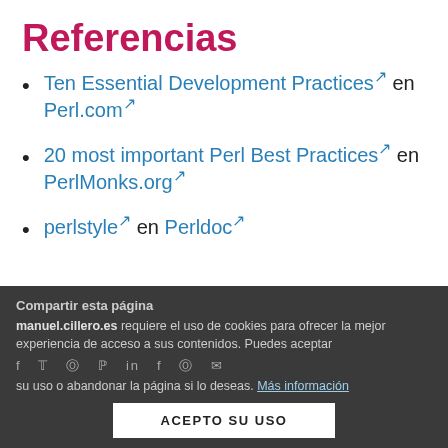Referencias
Ten Essential Development Practices ↗ en Perl.com ↗
20 most important Perl Best Practices ↗ en PerlMonks.org ↗
perlstyle ↗ en Perldoc ↗
Compartir esta página
manuel.cillero.es requiere el uso de cookies para ofrecer la mejor experiencia de acceso a sus contenidos. Puedes aceptar su uso o abandonar la página si lo deseas. Más información
ACEPTO SU USO